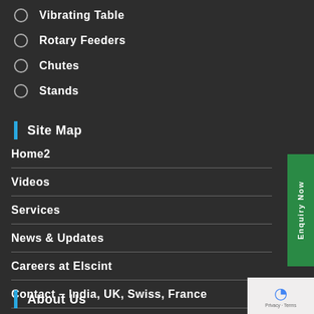Vibrating Table
Rotary Feeders
Chutes
Stands
Site Map
Home2
Videos
Services
News & Updates
Careers at Elscint
Contact – India, UK, Swiss, France
About Us